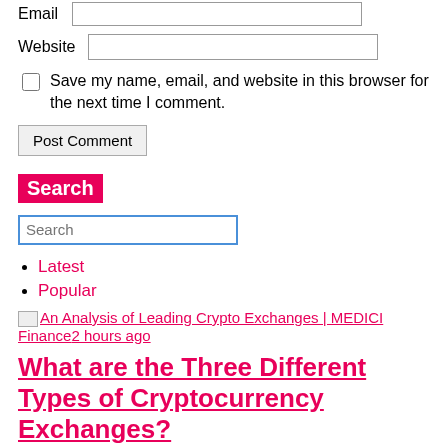Email [input field]
Website [input field]
Save my name, email, and website in this browser for the next time I comment.
Post Comment [button]
Search
Search [input field]
Latest
Popular
An Analysis of Leading Crypto Exchanges | MEDICI Finance 2 hours ago
What are the Three Different Types of Cryptocurrency Exchanges?